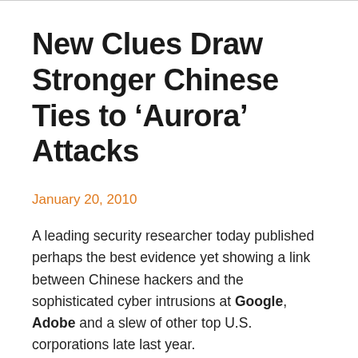New Clues Draw Stronger Chinese Ties to ‘Aurora’ Attacks
January 20, 2010
A leading security researcher today published perhaps the best evidence yet showing a link between Chinese hackers and the sophisticated cyber intrusions at Google, Adobe and a slew of other top U.S. corporations late last year.
In mid-December, Google discovered that its networks had been breached by attackers who appeared by coming from China. A Wall Street Journal article cited researchers saying the